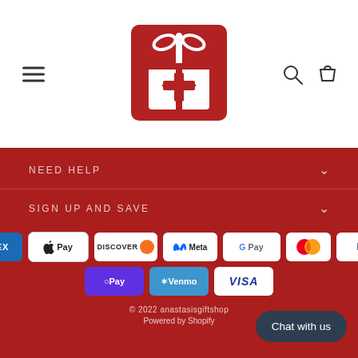[Figure (logo): Red gift box with white bow and cross symbol logo]
NEED HELP
SIGN UP AND SAVE
[Figure (infographic): Payment method icons: Amex, Apple Pay, Discover, Meta Pay, Google Pay, Mastercard, PayPal, OPay, Venmo, Visa]
© 2022 anastasisgiftshop
Powered by Shopify